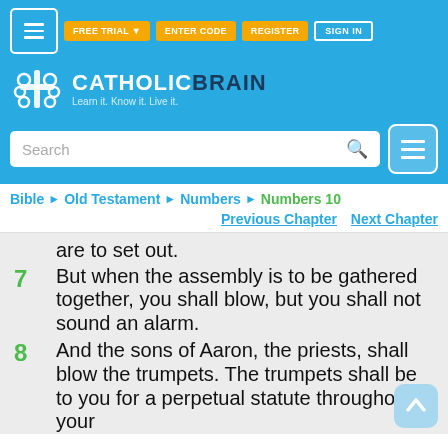[Figure (screenshot): CatholicBrain website header with navigation buttons (FREE TRIAL, ENTER CODE, REGISTER, SIGN IN), logo with brain icon, search bar, and hamburger menu]
Bible > Old Testament > Numbers > Numbers 10
Previous Chapter   Next Chapter
are to set out.
7  But when the assembly is to be gathered together, you shall blow, but you shall not sound an alarm.
8  And the sons of Aaron, the priests, shall blow the trumpets. The trumpets shall be to you for a perpetual statute throughout your